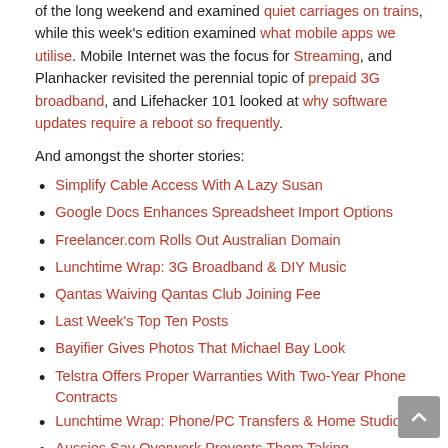of the long weekend and examined quiet carriages on trains, while this week's edition examined what mobile apps we utilise. Mobile Internet was the focus for Streaming, and Planhacker revisited the perennial topic of prepaid 3G broadband, and Lifehacker 101 looked at why software updates require a reboot so frequently.
And amongst the shorter stories:
Simplify Cable Access With A Lazy Susan
Google Docs Enhances Spreadsheet Import Options
Freelancer.com Rolls Out Australian Domain
Lunchtime Wrap: 3G Broadband & DIY Music
Qantas Waiving Qantas Club Joining Fee
Last Week's Top Ten Posts
Bayifier Gives Photos That Michael Bay Look
Telstra Offers Proper Warranties With Two-Year Phone Contracts
Lunchtime Wrap: Phone/PC Transfers & Home Studios
Aussies Say Overwork Prevents Them Taking